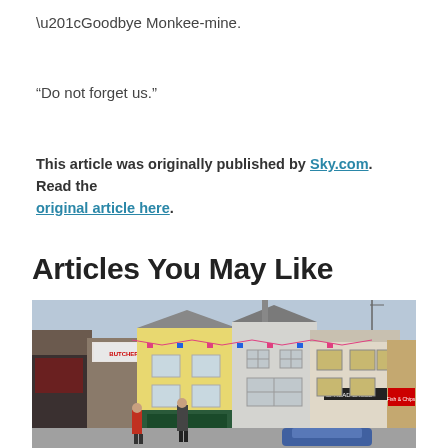“Goodbye Monkee-mine.
“Do not forget us.”
This article was originally published by Sky.com. Read the original article here.
Articles You May Like
[Figure (photo): Street scene showing a row of buildings in a UK town including a yellow building, a white building with 'Spread Eagle' pub sign, a fish and chip shop (Vicky's Fish & Chips), and other shops. People walking on the street, a blue car visible, overcast sky.]